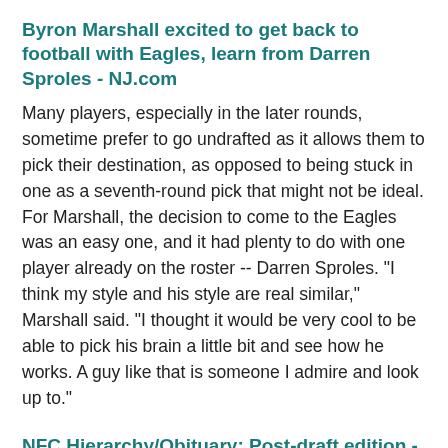Byron Marshall excited to get back to football with Eagles, learn from Darren Sproles - NJ.com
Many players, especially in the later rounds, sometime prefer to go undrafted as it allows them to pick their destination, as opposed to being stuck in one as a seventh-round pick that might not be ideal. For Marshall, the decision to come to the Eagles was an easy one, and it had plenty to do with one player already on the roster -- Darren Sproles.  "I think my style and his style are real similar," Marshall said. "I thought it would be very cool to be able to pick his brain a little bit and see how he works. A guy like that is someone I admire and look up to."
NFC Hierarchy/Obituary: Post-draft edition - PhillyVoice
The Eagles will be starting one of three quarterbacks in